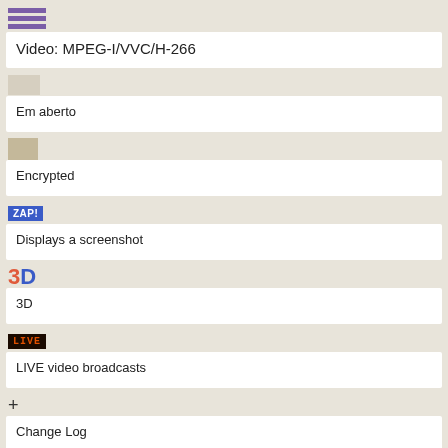Video: MPEG-I/VVC/H-266
Em aberto
Encrypted
Displays a screenshot
3D
LIVE video broadcasts
Change Log
DVB-S